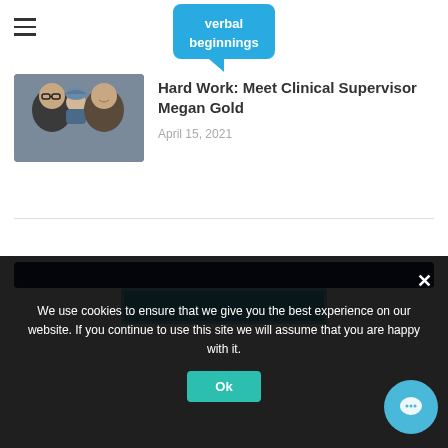verbal beginnings (logo)
[Figure (photo): A smiling family photo with adults and a baby in winter clothing]
Hard Work: Meet Clinical Supervisor Megan Gold
April 15, 2021
[Figure (other): Dark navy blue banner section with a light blue rectangle inside]
We use cookies to ensure that we give you the best experience on our website. If you continue to use this site we will assume that you are happy with it.
Ok